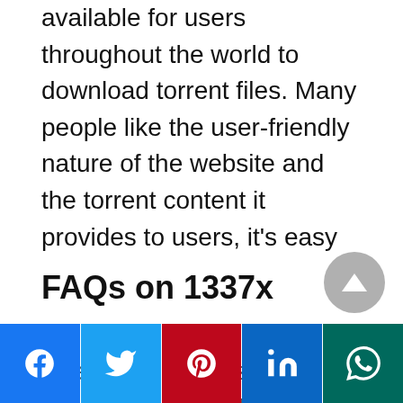available for users throughout the world to download torrent files. Many people like the user-friendly nature of the website and the torrent content it provides to users, it's easy to access the website content.
There is a huge list of torrent files available at your fingertips on the site with a good number of leechers and seeders. I suggest you use this 1337x torrent alternative when some of the above-listed sites are not working due to any reason.
FAQs on 1337x
[Facebook] [Twitter] [Pinterest] [LinkedIn] [WhatsApp]